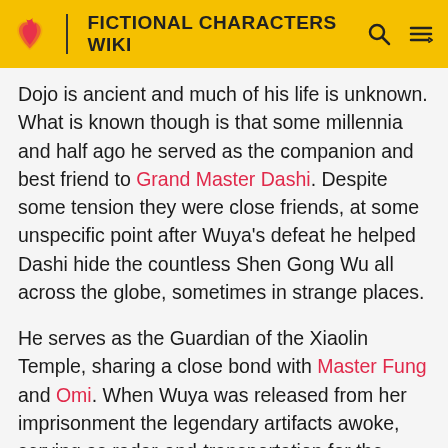FICTIONAL CHARACTERS WIKI
Dojo is ancient and much of his life is unknown. What is known though is that some millennia and half ago he served as the companion and best friend to Grand Master Dashi. Despite some tension they were close friends, at some unspecific point after Wuya's defeat he helped Dashi hide the countless Shen Gong Wu all across the globe, sometimes in strange places.
He serves as the Guardian of the Xiaolin Temple, sharing a close bond with Master Fung and Omi. When Wuya was released from her imprisonment the legendary artifacts awoke, serving as radar-and-transportation for the Xiaolin Warriors in their globetrotting hunt for Shen Gong Wu.